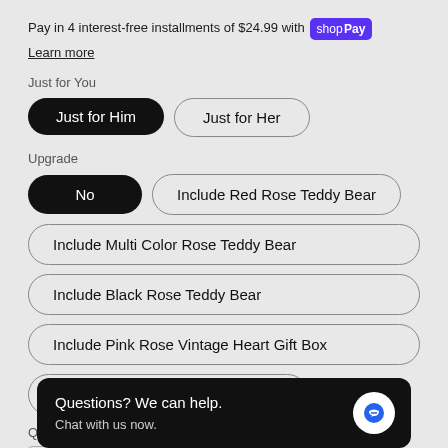Pay in 4 interest-free installments of $24.99 with shop Pay
Learn more
Just for You
Just for Him
Just for Her
Upgrade
No
Include Red Rose Teddy Bear
Include Multi Color Rose Teddy Bear
Include Black Rose Teddy Bear
Include Pink Rose Vintage Heart Gift Box
Include Red R...
Quantity
Questions? We can help. Chat with us now.